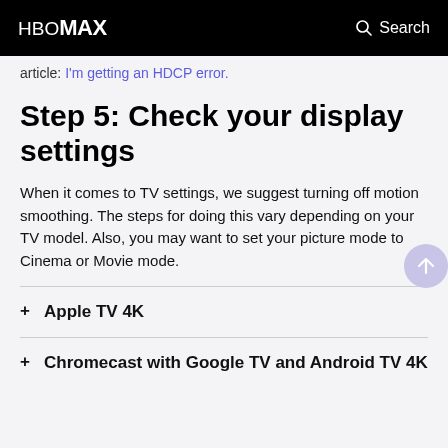HBO Max  Search
article: I'm getting an HDCP error.
Step 5: Check your display settings
When it comes to TV settings, we suggest turning off motion smoothing. The steps for doing this vary depending on your TV model. Also, you may want to set your picture mode to Cinema or Movie mode.
+ Apple TV 4K
+ Chromecast with Google TV and Android TV 4K